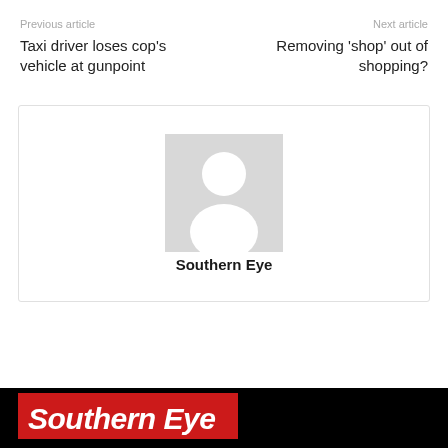Previous article
Taxi driver loses cop's vehicle at gunpoint
Next article
Removing 'shop' out of shopping?
[Figure (illustration): Default author avatar placeholder (grey silhouette of a person on a light grey background)]
Southern Eye
[Figure (logo): Southern Eye logo in white italic bold text on a red background banner, displayed on a black footer bar]